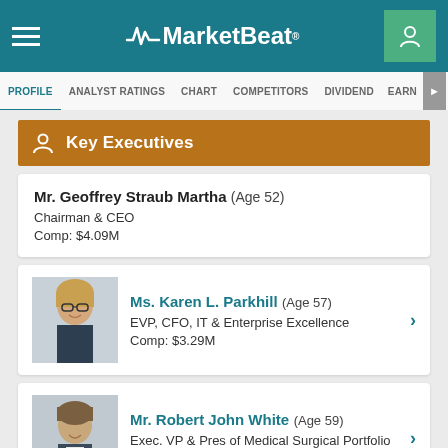MarketBeat
Key Executives
Mr. Geoffrey Straub Martha (Age 52)
Chairman & CEO
Comp: $4.09M
[Figure (photo): Photo of Ms. Karen L. Parkhill]
Ms. Karen L. Parkhill (Age 57)
EVP, CFO, IT & Enterprise Excellence
Comp: $3.29M
[Figure (photo): Photo of Mr. Robert John White]
Mr. Robert John White (Age 59)
Exec. VP & Pres of Medical Surgical Portfolio
Comp: $2.66M
Mr. Mark Ploof